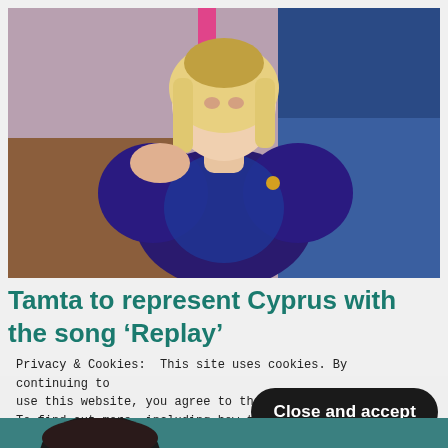[Figure (photo): Woman with blonde bob haircut wearing a blue/purple puffed-sleeve garment, standing in front of a colorful geometric background with pink, brown, and blue blocks]
Tamta to represent Cyprus with the song ‘Replay’
Privacy & Cookies: This site uses cookies. By continuing to use this website, you agree to their use. To find out more, including how to
here: Cookie Policy
Close and accept
[Figure (photo): Partial view of another person at the bottom of the page, teal/green background]